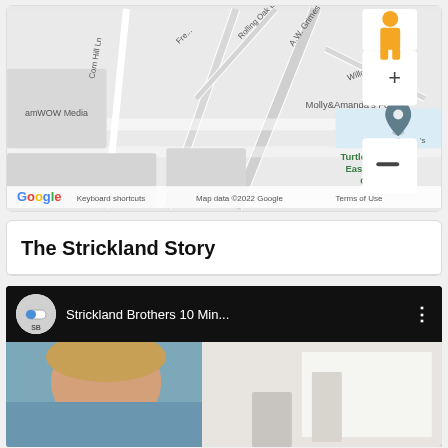[Figure (map): Google Maps screenshot showing area with Corn Hill Ln, Rolling Oak Dr, A.W. Grimes Blvd, Willow Way, amWOW Media, Molly&Amanda's Fort, Turtle Creek East Rock Garden, with zoom controls (+/-) and street view pegman icon. Google branding, Keyboard shortcuts, Map data ©2022 Google, Terms of Use footer.]
The Strickland Story
[Figure (screenshot): YouTube video embed showing Strickland Brothers channel (SB logo icon) with title 'Strickland Brothers 10 Min...' and three-dot menu. Thumbnail shows a person's face on left and a bright/white scene on right.]